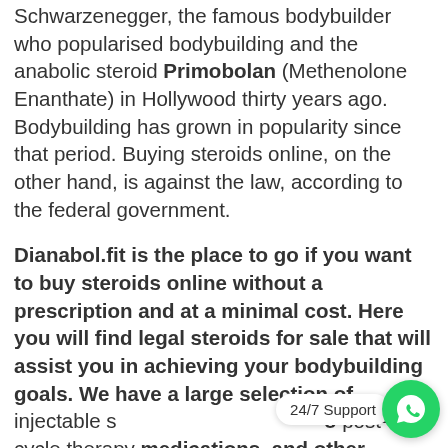Schwarzenegger, the famous bodybuilder who popularised bodybuilding and the anabolic steroid Primobolan (Methenolone Enanthate) in Hollywood thirty years ago. Bodybuilding has grown in popularity since that period. Buying steroids online, on the other hand, is against the law, according to the federal government.
Dianabol.fit is the place to go if you want to buy steroids online without a prescription and at a minimal cost. Here you will find legal steroids for sale that will assist you in achieving your bodybuilding goals. We have a large selection of injectable steroids, oral steroids, post-cycle therapy medications, and other